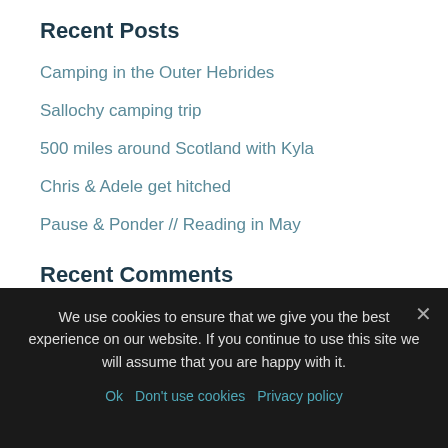Recent Posts
Camping in the Outer Hebrides
Sallochy camping trip
500 miles around Scotland with Kyla
Chris & Adele get hitched
Pause & Ponder // Reading in May
Recent Comments
Graeme Houston on I Got Inked!
Debbie on Sallochy camping trip
Debbie on Brave enough to begin
We use cookies to ensure that we give you the best experience on our website. If you continue to use this site we will assume that you are happy with it.
Ok  Don't use cookies  Privacy policy